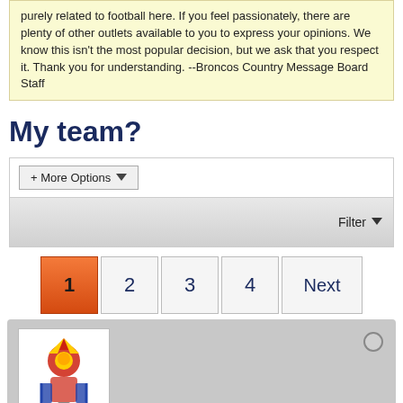purely related to football here. If you feel passionately, there are plenty of other outlets available to you to express your opinions. We know this isn't the most popular decision, but we ask that you respect it. Thank you for understanding. --Broncos Country Message Board Staff
My team?
[Figure (screenshot): Forum filter UI panel with '+ More Options' dropdown button and a 'Filter' dropdown on the right side]
[Figure (screenshot): Pagination bar with buttons: 1 (active, orange), 2, 3, 4, Next]
[Figure (screenshot): User card for 'Southstander', titled 'King of Anvilania', with a jester/knight avatar image and orange reputation pips]